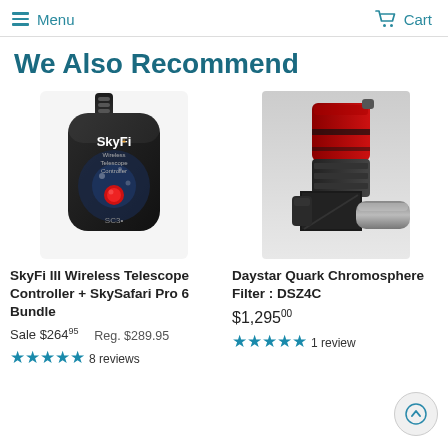Menu  Cart
We Also Recommend
[Figure (photo): SkyFi III wireless telescope controller device with a strap, dark body with red button and galaxy graphic, labeled SkyFi+ Wireless Telescope Controller]
SkyFi III Wireless Telescope Controller + SkySafari Pro 6 Bundle
Sale $264.95   Reg. $289.95
★★★★★ 8 reviews
[Figure (photo): Daystar Quark Chromosphere Filter DSZ4C - a red and black cylindrical optical filter attached to a telescope focuser]
Daystar Quark Chromosphere Filter : DSZ4C
$1,295.00
★★★★★ 1 review